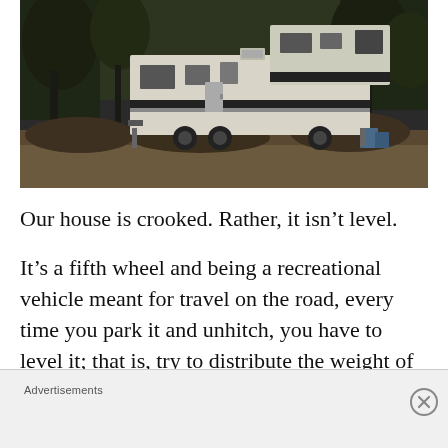[Figure (photo): Outdoor photograph showing a large white fifth-wheel RV/trailer parked among dry brush and trees on a dirt lot. The RV has multiple horizontal stripe details and appears to be in a rural or wooded setting.]
Our house is crooked. Rather, it isn't level.
It's a fifth wheel and being a recreational vehicle meant for travel on the road, every time you park it and unhitch, you have to level it; that is, try to distribute the weight of the rig as evenly as possible all around as well as getting
Advertisements